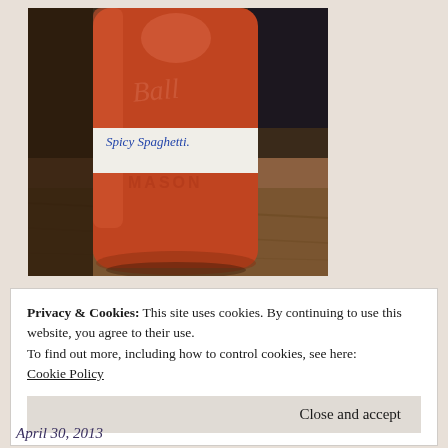[Figure (photo): A Ball Mason jar filled with orange-red tomato sauce (spicy spaghetti sauce), sitting on a wooden surface. The jar has a white label handwritten in blue ink reading 'Spicy Spaghetti' and the embossed word 'MASON' on the glass below the label. The Ball brand logo is embossed in script on the upper portion of the jar.]
Privacy & Cookies: This site uses cookies. By continuing to use this website, you agree to their use.
To find out more, including how to control cookies, see here:
Cookie Policy
Close and accept
April 30, 2013